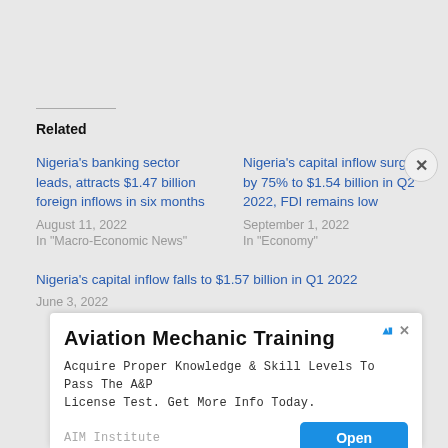Related
Nigeria's banking sector leads, attracts $1.47 billion foreign inflows in six months
August 11, 2022
In "Macro-Economic News"
Nigeria's capital inflow surges by 75% to $1.54 billion in Q2 2022, FDI remains low
September 1, 2022
In "Economy"
Nigeria's capital inflow falls to $1.57 billion in Q1 2022
June 3, 2022
[Figure (screenshot): Advertisement banner for Aviation Mechanic Training by AIM Institute with Open button]